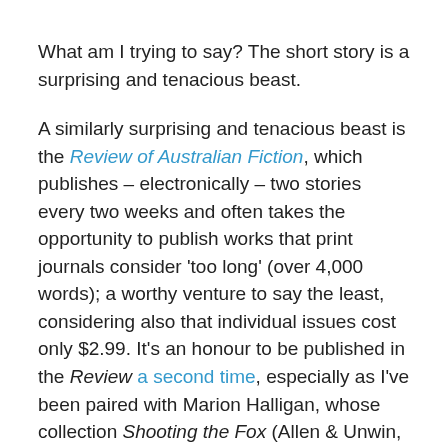What am I trying to say? The short story is a surprising and tenacious beast.
A similarly surprising and tenacious beast is the Review of Australian Fiction, which publishes – electronically – two stories every two weeks and often takes the opportunity to publish works that print journals consider 'too long' (over 4,000 words); a worthy venture to say the least, considering also that individual issues cost only $2.99. It's an honour to be published in the Review a second time, especially as I've been paired with Marion Halligan, whose collection Shooting the Fox (Allen & Unwin, 2011) was choc-full of literary magic. My story, 'The Blue Bottle', has been emerging for many years – decades you could say – because it uses an event from my twenties as a place for jumping off (no, it's not set in a pub). On the page the story